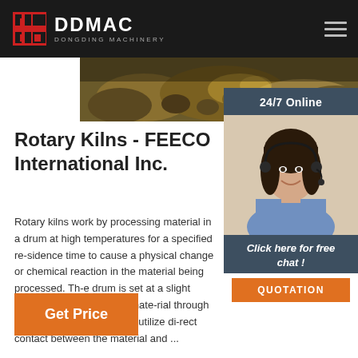DDMAC DONGDING MACHINERY
[Figure (photo): Aerial or ground-level photo of rocks/mining landscape in a horizontal banner strip]
[Figure (photo): 24/7 Online chat widget showing a smiling female customer service agent with headset, with 'Click here for free chat!' text and an orange QUOTATION button]
Rotary Kilns - FEECO International Inc.
Rotary kilns work by processing material in a drum at high temperatures for a specified residence time to cause a physical change or chemical reaction in the material being processed. The drum is set at a slight slope to assist in moving material through the drum. Direct-fired kilns utilize direct contact between the material and ...
Get Price